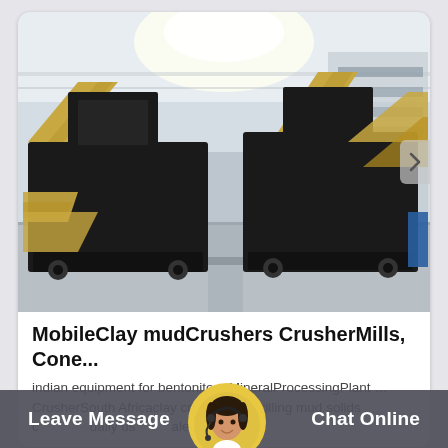[Figure (photo): Industrial machinery — two large mobile crushers/screening plants with black steel frames and tan/yellow structural supports parked inside a large warehouse. The machines have conveyor belts and are on wheeled chassis. High ceiling with natural light from skylights.]
MobileClay mudCrushers CrusherMills, Cone...
indian equipment for bentonite – MineralProcessingPlant … CrusherSouth Africaclay crushers … drilling mud solids control …usually used … shale shaker …